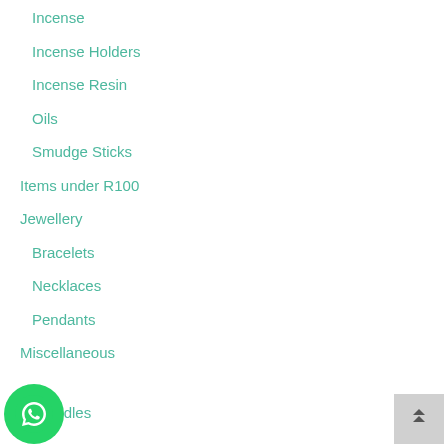Incense
Incense Holders
Incense Resin
Oils
Smudge Sticks
Items under R100
Jewellery
Bracelets
Necklaces
Pendants
Miscellaneous
…andles
[Figure (logo): WhatsApp icon button, green circle with white phone handset]
[Figure (other): Back to top button, grey square with double chevron up arrow]